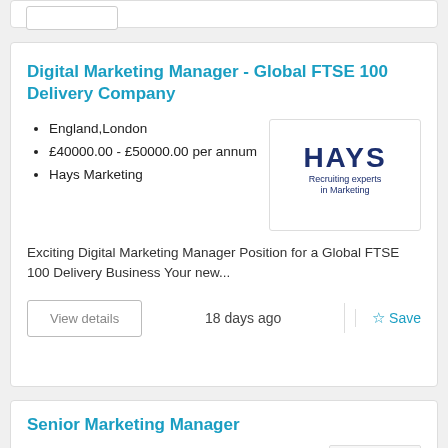Digital Marketing Manager - Global FTSE 100 Delivery Company
England,London
£40000.00 - £50000.00 per annum
Hays Marketing
[Figure (logo): Hays logo — HAYS in bold dark blue, with tagline 'Recruiting experts in Marketing']
Exciting Digital Marketing Manager Position for a Global FTSE 100 Delivery Business Your new...
18 days ago
Senior Marketing Manager
London (Central)